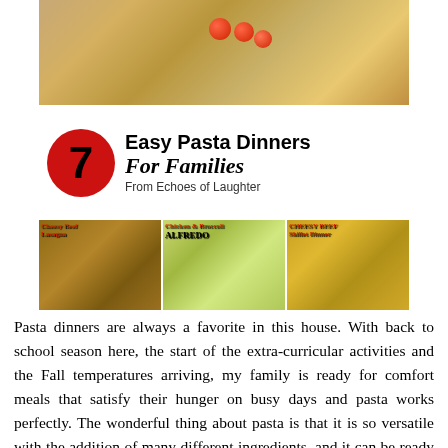[Figure (infographic): Composite image with pasta photo on top, large red circle with number 7, bold title text '7 Easy Pasta Dinners For Families From Echoes of Laughter', and three small recipe photos below showing Cheesy Beef Lasagna, Chicken & Broccoli Alfredo, and Cheesy Beef Skillet Dinner]
Pasta dinners are always a favorite in this house. With back to school season here, the start of the extra-curricular activities and the Fall temperatures arriving, my family is ready for comfort meals that satisfy their hunger on busy days and pasta works perfectly. The wonderful thing about pasta is that it is so versatile with the addition of many different ingredients, and it can be ready in as little as 10